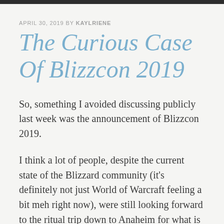APRIL 30, 2019 BY KAYLRIENE
The Curious Case Of Blizzcon 2019
So, something I avoided discussing publicly last week was the announcement of Blizzcon 2019.
I think a lot of people, despite the current state of the Blizzard community (it’s definitely not just World of Warcraft feeling a bit meh right now), were still looking forward to the ritual trip down to Anaheim for what is likely to be a